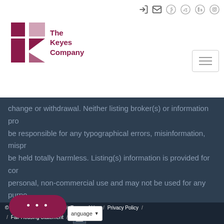The Keyes Company
change or withdrawal. Neither listing broker(s) or information provided be responsible for any typographical errors, misinformation, misprints, be held totally harmless. Listing(s) information is provided for consumers personal, non-commercial use and may not be used for any purpose other than to identify prospective properties consumers may be interested in
© 2022 Inside Real Estate / Terms of Use / Privacy Policy / Fair Housing Statement /